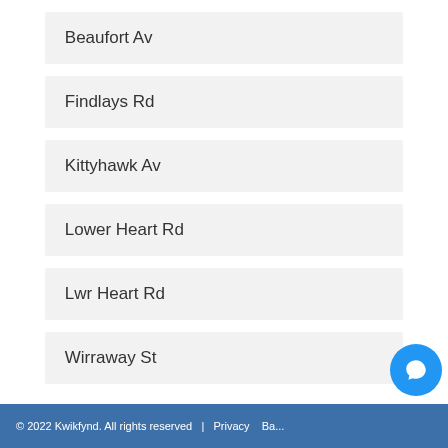Beaufort Av
Findlays Rd
Kittyhawk Av
Lower Heart Rd
Lwr Heart Rd
Wirraway St
© 2022 Kwikfynd. All rights reserved  |  Privacy  Ba...